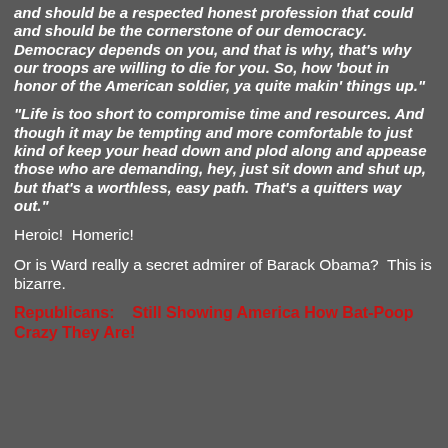and should be a respected honest profession that could and should be the cornerstone of our democracy. Democracy depends on you, and that is why, that's why our troops are willing to die for you. So, how 'bout in honor of the American soldier, ya quite makin' things up."
"Life is too short to compromise time and resources. And though it may be tempting and more comfortable to just kind of keep your head down and plod along and appease those who are demanding, hey, just sit down and shut up, but that's a worthless, easy path. That's a quitters way out."
Heroic!  Homeric!
Or is Ward really a secret admirer of Barack Obama?  This is bizarre.
Republicans:   Still Showing America How Bat-Poop Crazy They Are!